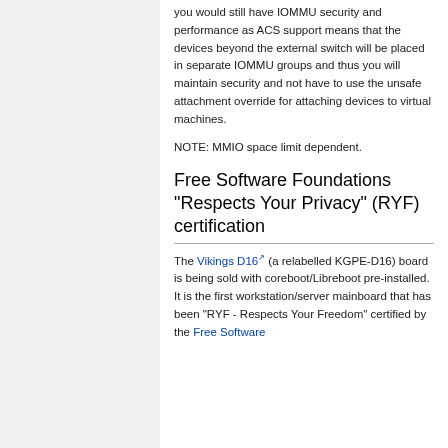you would still have IOMMU security and performance as ACS support means that the devices beyond the external switch will be placed in separate IOMMU groups and thus you will maintain security and not have to use the unsafe attachment override for attaching devices to virtual machines.
NOTE: MMIO space limit dependent.
Free Software Foundations "Respects Your Privacy" (RYF) certification
The Vikings D16 (a relabelled KGPE-D16) board is being sold with coreboot/Libreboot pre-installed. It is the first workstation/server mainboard that has been "RYF - Respects Your Freedom" certified by the Free Software